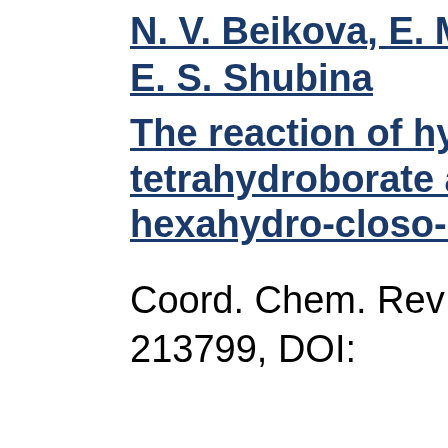N. V. Beikova, E. M. ... E. S. Shubina
The reaction of hyd... tetrahydroborate a... hexahydro-closo-h...
Coord. Chem. Rev... 213799, DOI: